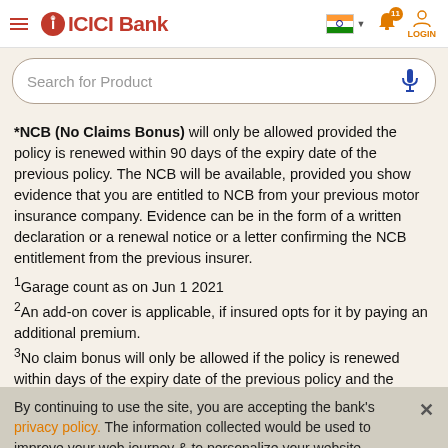ICICI Bank header with logo, search bar
*NCB (No Claims Bonus) will only be allowed provided the policy is renewed within 90 days of the expiry date of the previous policy. The NCB will be available, provided you show evidence that you are entitled to NCB from your previous motor insurance company. Evidence can be in the form of a written declaration or a renewal notice or a letter confirming the NCB entitlement from the previous insurer.
1Garage count as on Jun 1 2021
2An add-on cover is applicable, if insured opts for it by paying an additional premium.
3No claim bonus will only be allowed if the policy is renewed within days of the expiry date of the previous policy and the...
By continuing to use the site, you are accepting the bank's privacy policy. The information collected would be used to improve your web journey & to personalize your website experience.